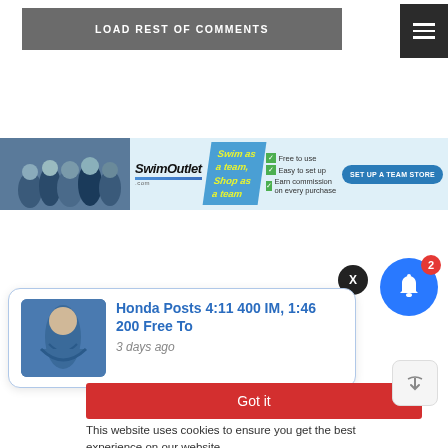LOAD REST OF COMMENTS
[Figure (screenshot): Hamburger menu icon (three horizontal lines) on dark background]
[Figure (infographic): SwimOutlet.com banner advertisement showing swim team photo, logo, tagline 'Swim as a team, Shop as a team', checkmarks for 'Free to use', 'Easy to set up', 'Earn commission on every purchase', and 'SET UP A TEAM STORE' button]
[Figure (screenshot): Blue notification bell icon with red badge showing count '2']
[Figure (screenshot): Black circular X close button]
[Figure (screenshot): Notification popup with swimmer photo and text 'Honda Posts 4:11 400 IM, 1:46 200 Free To' and timestamp '3 days ago']
Got it
This website uses cookies to ensure you get the best experience on our website.